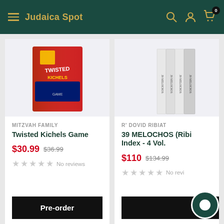Judaica Spot
[Figure (photo): Twisted Kichels Game product box image — colorful red and blue board game box]
MITZVAH FAMILY
Twisted Kichels Game
$30.99  $36.99
No reviews
Pre-order
[Figure (photo): 39 Melochos book set — multiple white/gray volumes in a box set]
R' DOVID RIBIAT
39 MELOCHOS (Ribiat) With Index - 4 Vol.
$110  $134.99
No revi...